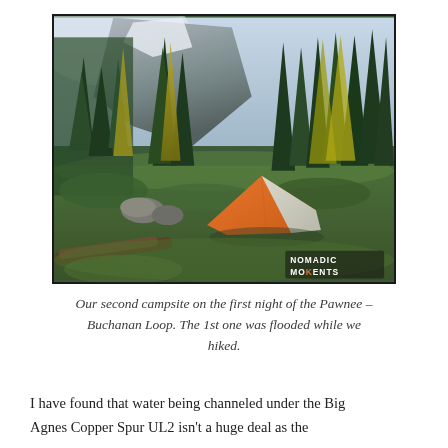[Figure (photo): Outdoor camping photo showing an orange and white tent pitched on grassy alpine terrain surrounded by tall conifer trees with a rocky mountain cliff in the background. Watermark reads NOMADIC MOMENTS in the bottom-right corner.]
Our second campsite on the first night of the Pawnee – Buchanan Loop. The 1st one was flooded while we hiked.
I have found that water being channeled under the Big Agnes Copper Spur UL2 isn't a huge deal as the